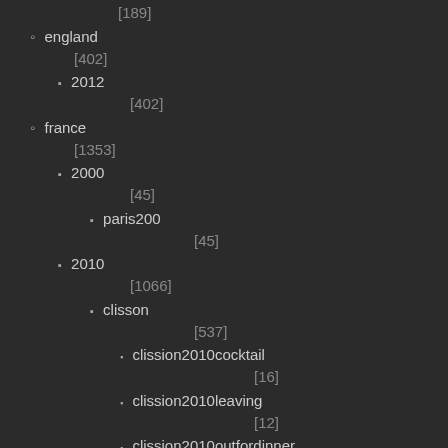[189]
england
[402]
2012
[402]
france
[1353]
2000
[45]
paris200
[45]
2010
[1066]
clisson
[537]
clission2010cocktail
[16]
clission2010leaving
[12]
clission2010outfordinner
[17]
clission2010weddingdinner
[24]
clisson2010aat1
[55]
clisson2010bbq
[16]
clisson2010bikeride
[56]
clisson2010cat1
[19]
clisson2010cwalkingagain